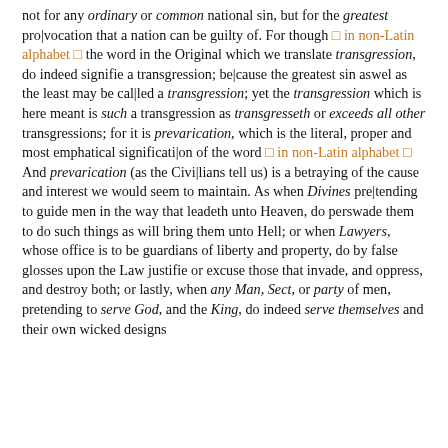not for any ordinary or common national sin, but for the greatest provocation that a nation can be guilty of. For though [in non-Latin alphabet] the word in the Original which we translate transgression, do indeed signifie a transgression; because the greatest sin aswel as the least may be called a transgression; yet the transgression which is here meant is such a transgression as transgresseth or exceeds all other transgressions; for it is prevarication, which is the literal, proper and most emphatical signification of the word [in non-Latin alphabet] And prevarication (as the Civilians tell us) is a betraying of the cause and interest we would seem to maintain. As when Divines pretending to guide men in the way that leadeth unto Heaven, do perswade them to do such things as will bring them unto Hell; or when Lawyers, whose office is to be guardians of liberty and property, do by false glosses upon the Law justifie or excuse those that invade, and oppress, and destroy both; or lastly, when any Man, Sect, or party of men, pretending to serve God, and the King, do indeed serve themselves and their own wicked designs